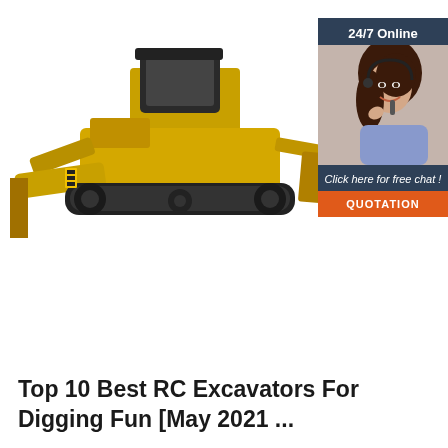[Figure (photo): A yellow bulldozer/scraper construction machine on white background, with a dark blue ad banner on the right showing a woman with a headset, '24/7 Online' header, 'Click here for free chat!' text, and an orange 'QUOTATION' button.]
Top 10 Best RC Excavators For Digging Fun [May 2021 ...